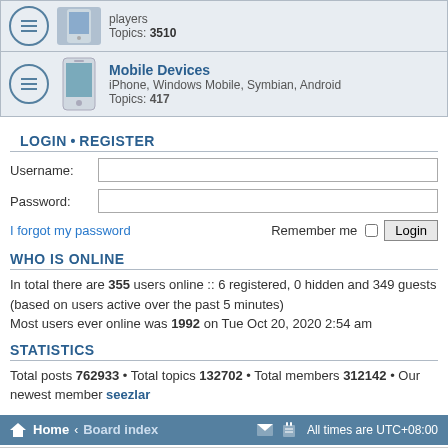Topics: 3510
Mobile Devices
iPhone, Windows Mobile, Symbian, Android
Topics: 417
LOGIN • REGISTER
Username:
Password:
I forgot my password
Remember me  Login
WHO IS ONLINE
In total there are 355 users online :: 6 registered, 0 hidden and 349 guests (based on users active over the past 5 minutes)
Most users ever online was 1992 on Tue Oct 20, 2020 2:54 am
STATISTICS
Total posts 762933 • Total topics 132702 • Total members 312142 • Our newest member seezlar
Home • Board index  All times are UTC+08:00
We use cookies to provide you with the best browsing  Got it!